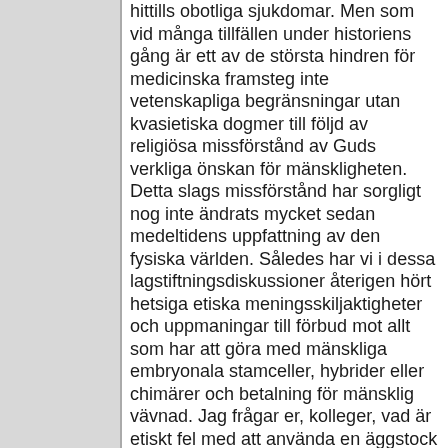hittills obotliga sjukdomar. Men som vid många tillfällen under historiens gång är ett av de största hindren för medicinska framsteg inte vetenskapliga begränsningar utan kvasietiska dogmer till följd av religiösa missförstånd av Guds verkliga önskan för mänskligheten. Detta slags missförstånd har sorgligt nog inte ändrats mycket sedan medeltidens uppfattning av den fysiska världen. Således har vi i dessa lagstiftningsdiskussioner återigen hört hetsiga etiska meningsskiljaktigheter och uppmaningar till förbud mot allt som har att göra med mänskliga embryonala stamceller, hybrider eller chimärer och betalning för mänsklig vävnad. Jag frågar er, kolleger, vad är etiskt fel med att använda en äggstock från ett djur och föra in genetiskt material från en människa för att framställa en viss mänsklig hybrid.